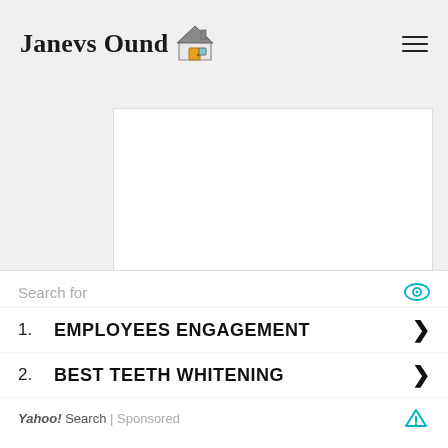Janevs Ound [house icon]
[Figure (illustration): Large white blank content area on a light grey background, representing main page body]
Search for
1. EMPLOYEES ENGAGEMENT
2. BEST TEETH WHITENING
Yahoo! Search | Sponsored